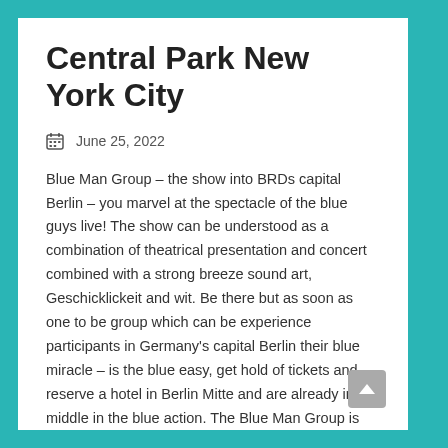Central Park New York City
June 25, 2022
Blue Man Group – the show into BRDs capital Berlin – you marvel at the spectacle of the blue guys live! The show can be understood as a combination of theatrical presentation and concert combined with a strong breeze sound art, Geschicklickeit and wit. Be there but as soon as one to be group which can be experience participants in Germany's capital Berlin their blue miracle – is the blue easy, get hold of tickets and reserve a hotel in Berlin Mitte and are already in the middle in the blue action. The Blue Man Group is presenting a very imaginative form of entertainment which previously puts everything in the shadow. Their shows are since ever